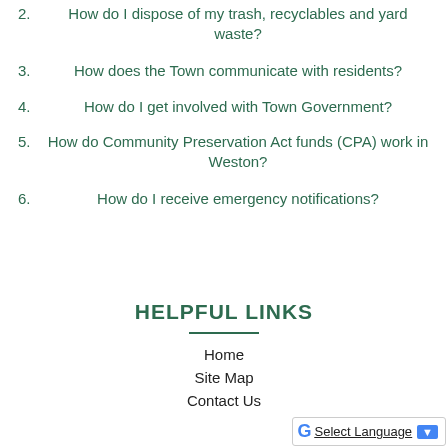2. How do I dispose of my trash, recyclables and yard waste?
3. How does the Town communicate with residents?
4. How do I get involved with Town Government?
5. How do Community Preservation Act funds (CPA) work in Weston?
6. How do I receive emergency notifications?
HELPFUL LINKS
Home
Site Map
Contact Us